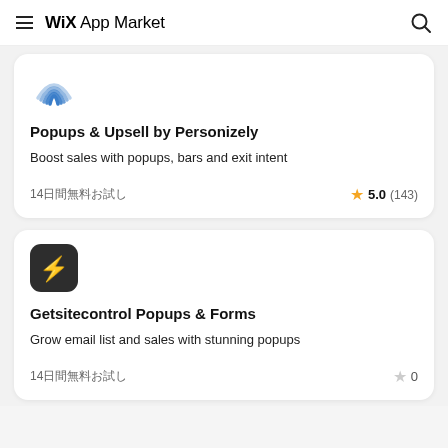Wix App Market
[Figure (logo): Personizely app icon - concentric blue semicircles]
Popups & Upsell by Personizely
Boost sales with popups, bars and exit intent
14日無料お試し  ★ 5.0 (143)
[Figure (logo): Getsitecontrol app icon - dark circle with lightning bolt]
Getsitecontrol Popups & Forms
Grow email list and sales with stunning popups
14日無料お試し  ☆ 0